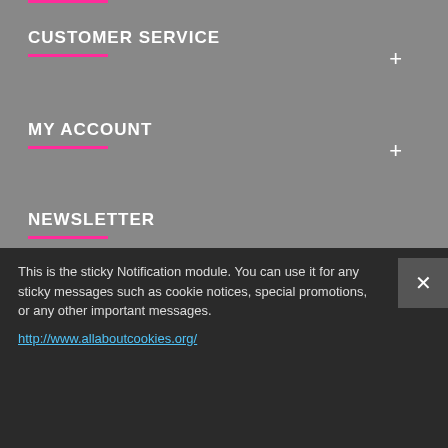CUSTOMER SERVICE
MY ACCOUNT
NEWSLETTER
Get the latest info and newest designs!
Your email
SEND
I have read and agree to the Privacy Policy
Copyright © 2021, Creative Embellishments. All Rights Reserved
This is the sticky Notification module. You can use it for any sticky messages such as cookie notices, special promotions, or any other important messages.
http://www.allaboutcookies.org/